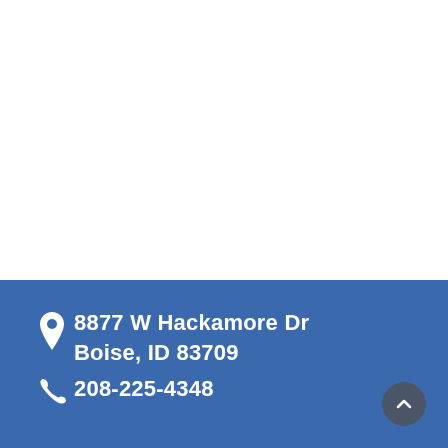[Figure (other): White blank upper section of a webpage]
8877 W Hackamore Dr
Boise, ID 83709
208-225-4348